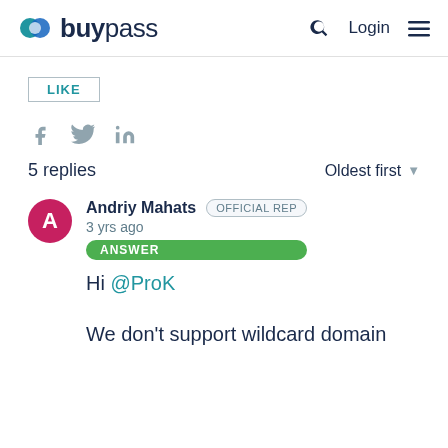buypass — Login
LIKE
[Figure (other): Social share icons: Facebook (f), Twitter (bird), LinkedIn (in)]
5 replies   Oldest first
Andriy Mahats  OFFICIAL REP
3 yrs ago
ANSWER
Hi @ProK
We don't support wildcard domain